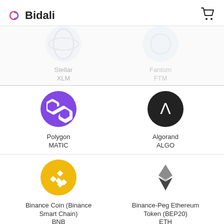Bidali
[Figure (infographic): Stellar XLM coin logo (partially visible at top)]
[Figure (infographic): Fantom FTM coin logo (partially visible at top)]
[Figure (infographic): Polygon MATIC coin logo - purple circle with chain links]
Polygon
MATIC
[Figure (infographic): Algorand ALGO coin logo - black circle with lambda symbol]
Algorand
ALGO
[Figure (infographic): Binance Coin BNB logo - gold circle with BNB diamond symbol]
Binance Coin (Binance Smart Chain)
BNB
[Figure (infographic): Ethereum ETH logo - grey diamond shape]
Binance-Peg Ethereum Token (BEP20)
ETH
[Figure (infographic): Bitcoin BTCB logo - orange circle with Bitcoin symbol]
Binance-Peg BTCB
[Figure (infographic): Litecoin LTC logo - dark blue circle with L symbol]
Binance-Peg Litecoin